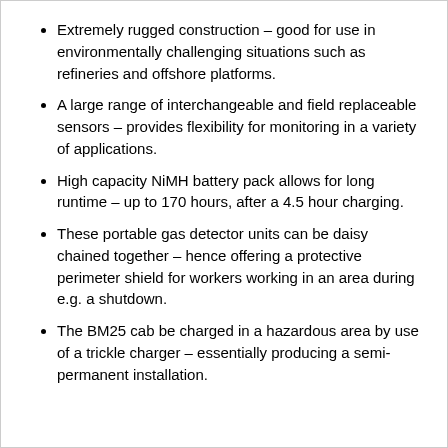Extremely rugged construction – good for use in environmentally challenging situations such as refineries and offshore platforms.
A large range of interchangeable and field replaceable sensors – provides flexibility for monitoring in a variety of applications.
High capacity NiMH battery pack allows for long runtime – up to 170 hours, after a 4.5 hour charging.
These portable gas detector units can be daisy chained together – hence offering a protective perimeter shield for workers working in an area during e.g. a shutdown.
The BM25 cab be charged in a hazardous area by use of a trickle charger – essentially producing a semi-permanent installation.